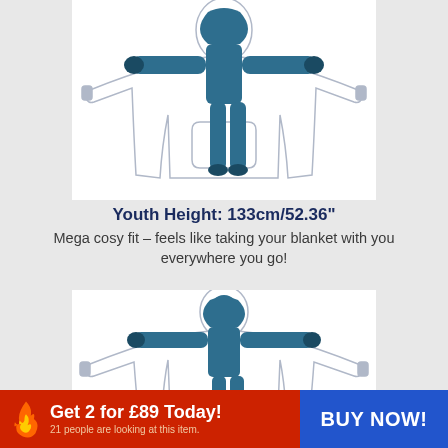[Figure (illustration): Diagram of a person wearing an oversized hoodie/blanket sweatshirt, shown from the front with arms outstretched, teal/blue colored figure inside a large outline garment]
Youth Height: 133cm/52.36"
Mega cosy fit – feels like taking your blanket with you everywhere you go!
[Figure (illustration): Diagram of a person wearing an oversized hoodie/blanket sweatshirt, partial view from the top, teal/blue colored figure inside a large outline garment]
Get 2 for £89 Today!
21 people are looking at this item.
BUY NOW!